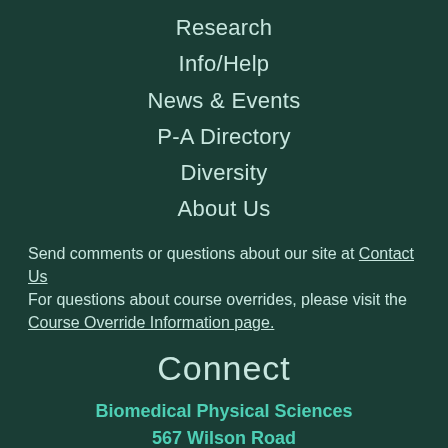Research
Info/Help
News & Events
P-A Directory
Diversity
About Us
Send comments or questions about our site at Contact Us
For questions about course overrides, please visit the Course Override Information page.
Connect
Biomedical Physical Sciences
567 Wilson Road
East Lansing, MI 48824